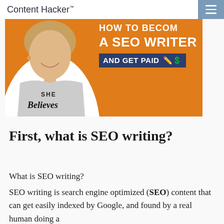Content Hacker™
[Figure (photo): Content Hacker branded banner image showing a woman with blonde hair wearing a 'SHE Believes' t-shirt on an orange background, with text overlay reading 'HOW TO BECOME A SEO WRITER AND GET PAID' with pen and dollar sign icons]
First, what is SEO writing?
What is SEO writing?
SEO writing is search engine optimized (SEO) content that can get easily indexed by Google, and found by a real human doing a